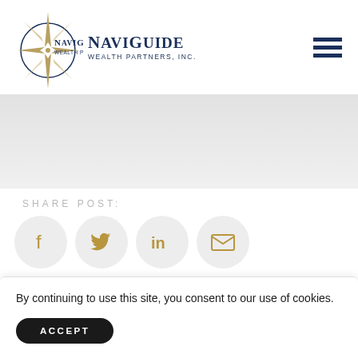[Figure (logo): NaviGuide Wealth Partners, Inc. logo with compass rose graphic in gold and navy blue]
[Figure (other): Hamburger menu icon with three horizontal navy blue bars]
SHARE POST:
[Figure (other): Social sharing icons: Facebook, Twitter, LinkedIn, Email in gold on circular light gray backgrounds]
By continuing to use this site, you consent to our use of cookies.
ACCEPT